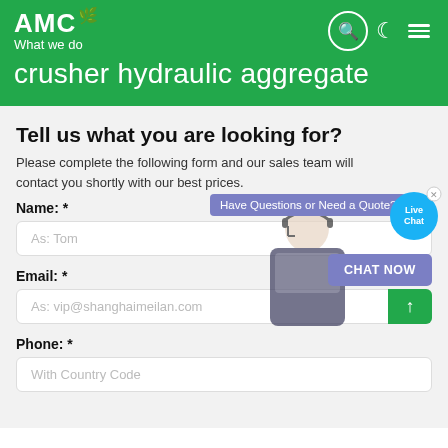AMC What we do
crusher hydraulic aggregate
Tell us what you are looking for?
Please complete the following form and our sales team will contact you shortly with our best prices.
Have Questions or Need a Quote?
CHAT NOW
Live Chat
Name: *
As: Tom
Email: *
As: vip@shanghaimeilan.com
Phone: *
With Country Code